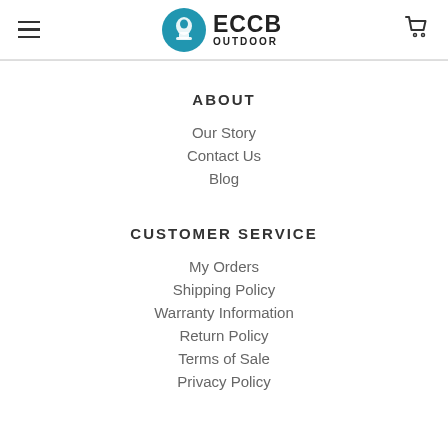ECCB OUTDOOR navigation header
ABOUT
Our Story
Contact Us
Blog
CUSTOMER SERVICE
My Orders
Shipping Policy
Warranty Information
Return Policy
Terms of Sale
Privacy Policy